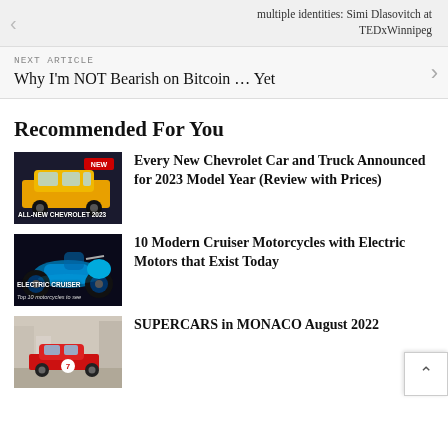multiple identities: Simi Dlasovitch at TEDxWinnipeg
NEXT ARTICLE
Why I'm NOT Bearish on Bitcoin … Yet
Recommended For You
[Figure (photo): Yellow Chevrolet SUV with ALL-NEW CHEVROLET 2023 badge]
Every New Chevrolet Car and Truck Announced for 2023 Model Year (Review with Prices)
[Figure (photo): Blue electric cruiser motorcycle with caption Top 10 motorcycles to see]
10 Modern Cruiser Motorcycles with Electric Motors that Exist Today
[Figure (photo): Red supercar in Monaco street]
SUPERCARS in MONACO August 2022